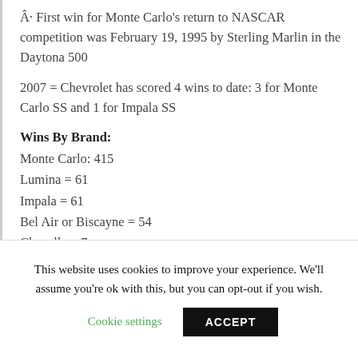Â· First win for Monte Carlo's return to NASCAR competition was February 19, 1995 by Sterling Marlin in the Daytona 500
2007 = Chevrolet has scored 4 wins to date: 3 for Monte Carlo SS and 1 for Impala SS
Wins By Brand:
Monte Carlo: 415
Lumina = 61
Impala = 61
Bel Air or Biscayne = 54
Chevelle = 7
Camaro = 2
This website uses cookies to improve your experience. We'll assume you're ok with this, but you can opt-out if you wish.